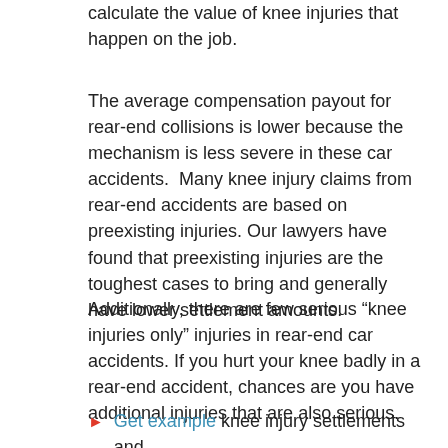calculate the value of knee injuries that happen on the job.
The average compensation payout for rear-end collisions is lower because the mechanism is less severe in these car accidents.  Many knee injury claims from rear-end accidents are based on preexisting injuries. Our lawyers have found that preexisting injuries are the toughest cases to bring and generally have lower settlement amounts.
Additionally, there are few serious “knee injuries only” injuries in rear-end car accidents. If you hurt your knee badly in a rear-end accident, chances are you have additional injuries that are also serious.
Get example knee injury settlements and